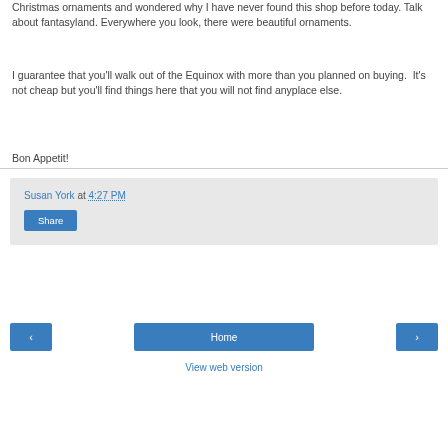Christmas ornaments and wondered why I have never found this shop before today. Talk about fantasyland. Everywhere you look, there were beautiful ornaments.
I guarantee that you'll walk out of the Equinox with more than you planned on buying.  It's not cheap but you'll find things here that you will not find anyplace else.
Bon Appetit!
Susan York at 4:27 PM
Share
‹
Home
›
View web version